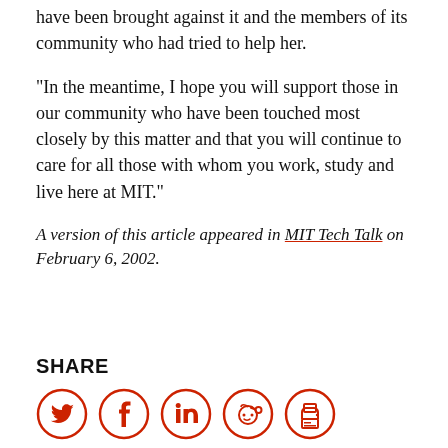have been brought against it and the members of its community who had tried to help her.
"In the meantime, I hope you will support those in our community who have been touched most closely by this matter and that you will continue to care for all those with whom you work, study and live here at MIT."
A version of this article appeared in MIT Tech Talk on February 6, 2002.
[Figure (infographic): Social share icons: Twitter, Facebook, LinkedIn, Reddit, Print — red circle outlines with red icons]
SHARE